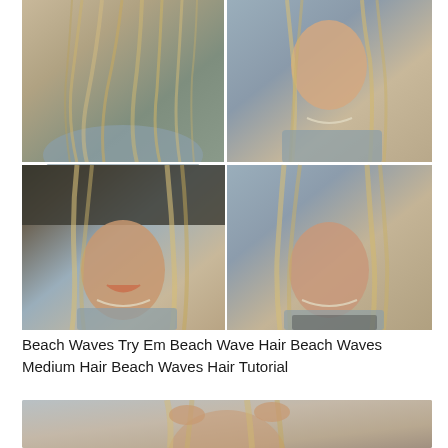[Figure (photo): A 2x2 collage of four photos showing a woman with blonde beach waves hair. Top-left: back view of long wavy blonde hair. Top-right: front view of woman with wavy blonde hair smiling, wearing blue sweater and necklace. Bottom-left: woman laughing with wavy blonde highlighted hair, wearing blue sweater and necklace. Bottom-right: woman with wavy blonde hair looking at camera, wearing blue sweater and necklace.]
Beach Waves Try Em Beach Wave Hair Beach Waves Medium Hair Beach Waves Hair Tutorial
[Figure (photo): Partial photo showing top of a woman's head with hands styling wavy blonde hair, cropped at bottom of page.]